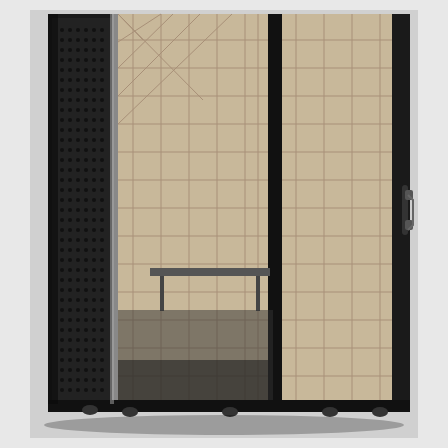[Figure (photo): A portable acoustic isolation booth or vocal recording booth shown with its door open. The booth has a black exterior with a perforated/pegboard left side panel, and the interior walls are lined with cream/beige quilted acoustic sound-dampening panels. A small folding desk or shelf is visible inside. The right door panel also has quilted acoustic lining on its interior surface. The booth sits on small casters/wheels at the base. A handle is visible on the right exterior edge of the door.]